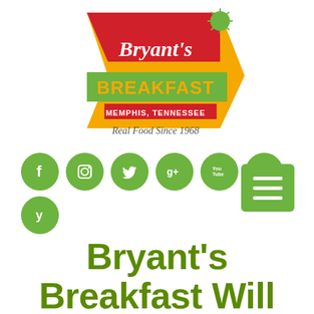[Figure (logo): Bryant's Breakfast retro logo sign — red and yellow arrow/chevron shape with 'Bryant's' in white script, 'BREAKFAST' in green on yellow banner, 'MEMPHIS, TENNESSEE' in white, 'Real Food Since 1968' in script, with a green starburst top right]
[Figure (infographic): Row of 7 green circular social media icons: Facebook, Instagram, Twitter, Google+, YouTube, TripAdvisor, and below them Yelp. Plus a green hamburger/menu button on the right.]
Bryant's Breakfast Will Reopen April 14th